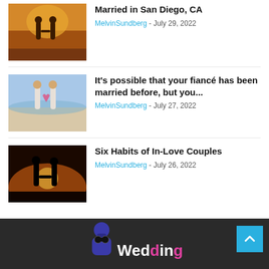Married in San Diego, CA — MelvinSundberg - July 29, 2022
It's possible that your fiancé has been married before, but you... — MelvinSundberg - July 27, 2022
Six Habits of In-Love Couples — MelvinSundberg - July 26, 2022
[Figure (logo): Wedding website footer logo with person icon and text 'Wedding' in white and pink]
Wedding blog footer with scroll-to-top button